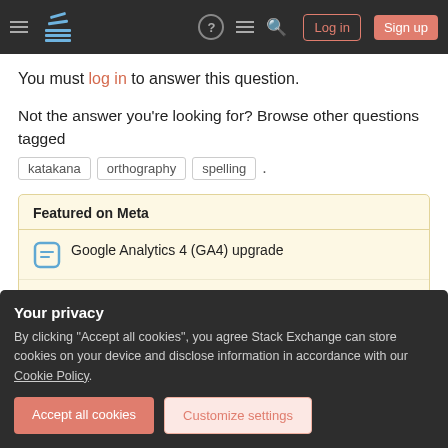Stack Exchange navigation bar with hamburger menu, logo, question mark, lines icon, search icon, Log in button, Sign up button
You must log in to answer this question.
Not the answer you're looking for? Browse other questions tagged katakana orthography spelling .
Featured on Meta
Google Analytics 4 (GA4) upgrade
Announcing the Stack Overflow Student Ambassador Program
Your privacy
By clicking "Accept all cookies", you agree Stack Exchange can store cookies on your device and disclose information in accordance with our Cookie Policy.
Accept all cookies  Customize settings